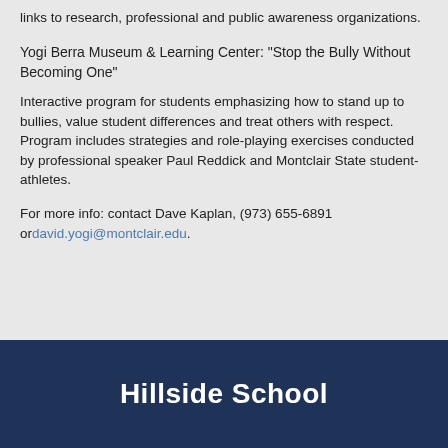links to research, professional and public awareness organizations.
Yogi Berra Museum & Learning Center: "Stop the Bully Without Becoming One"
Interactive program for students emphasizing how to stand up to bullies, value student differences and treat others with respect. Program includes strategies and role-playing exercises conducted by professional speaker Paul Reddick and Montclair State student- athletes.
For more info: contact Dave Kaplan, (973) 655-6891 or david.yogi@montclair.edu.
Hillside School